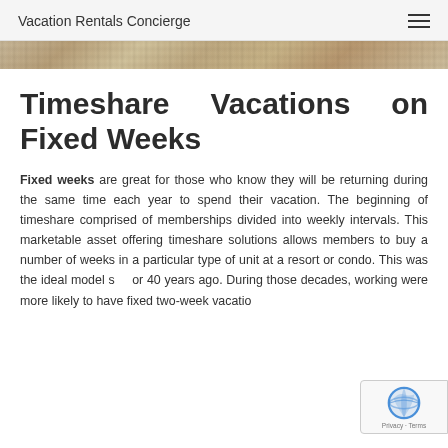Vacation Rentals Concierge
[Figure (photo): Decorative hero image with sandy/stone texture in tan and brown tones]
Timeshare Vacations on Fixed Weeks
Fixed weeks are great for those who know they will be returning during the same time each year to spend their vacation. The beginning of timeshare comprised of memberships divided into weekly intervals. This marketable asset offering timeshare solutions allows members to buy a number of weeks in a particular type of unit at a resort or condo. This was the ideal model 30 or 40 years ago. During those decades, working were more likely to have fixed two-week vacatio...